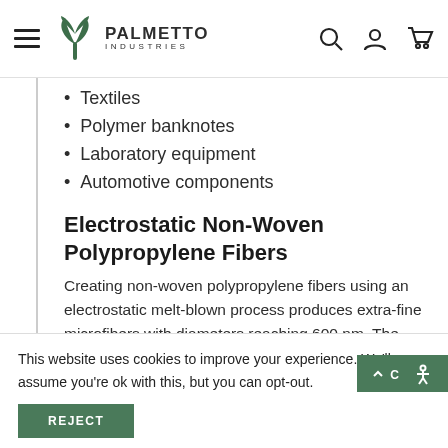Palmetto Industries
Textiles
Polymer banknotes
Laboratory equipment
Automotive components
Electrostatic Non-Woven Polypropylene Fibers
Creating non-woven polypropylene fibers using an electrostatic melt-blown process produces extra-fine microfibers with diameters reaching 600 nm. The electrostatic forces act with the air
This website uses cookies to improve your experience. We'll assume you're ok with this, but you can opt-out.
REJECT